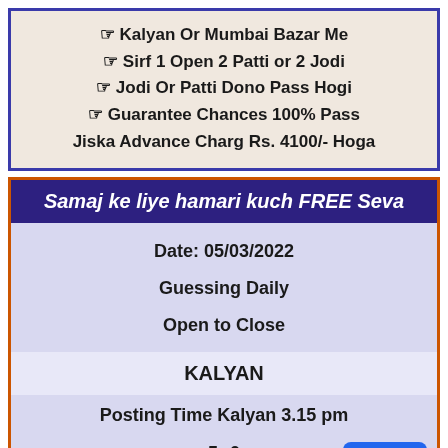☞ Kalyan Or Mumbai Bazar Me
☞ Sirf 1 Open 2 Patti or 2 Jodi
☞ Jodi Or Patti Dono Pass Hogi
☞ Guarantee Chances 100% Pass
Jiska Advance Charg Rs. 4100/- Hoga
Samaj ke liye hamari kuch FREE Seva
Date: 05/03/2022
Guessing Daily
Open to Close
KALYAN
Posting Time Kalyan 3.15 pm
5--0
50--06
799--299
Refresh
Call Us
kcta nkbsa ka bkan nkan sa ba akna so kb nka bka